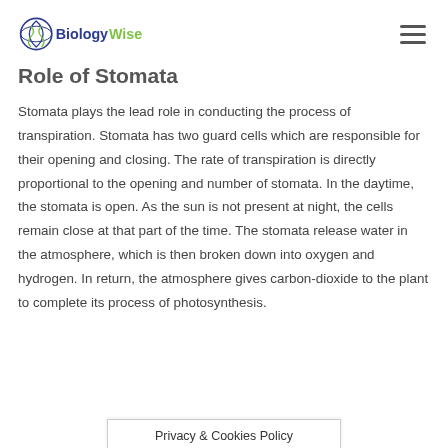BiologyWise
Role of Stomata
Stomata plays the lead role in conducting the process of transpiration. Stomata has two guard cells which are responsible for their opening and closing. The rate of transpiration is directly proportional to the opening and number of stomata. In the daytime, the stomata is open. As the sun is not present at night, the cells remain close at that part of the time. The stomata release water in the atmosphere, which is then broken down into oxygen and hydrogen. In return, the atmosphere gives carbon-dioxide to the plant to complete its process of photosynthesis.
Privacy & Cookies Policy